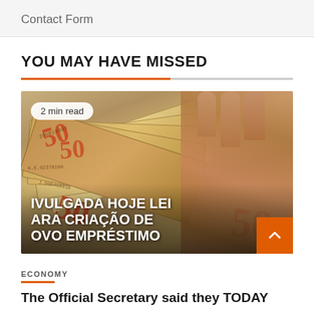Contact Form
YOU MAY HAVE MISSED
[Figure (photo): Photo of a hand holding a fan of Brazilian Real (R$50) banknotes, with overlay text reading 'IVULGADA HOJE LEI ARA CRIACAO DE OVO EMPRESTIMO' and a '2 min read' badge in the top left corner. An orange scroll-to-top button is visible in the bottom right.]
ECONOMY
The Official Secretary said they TODAY